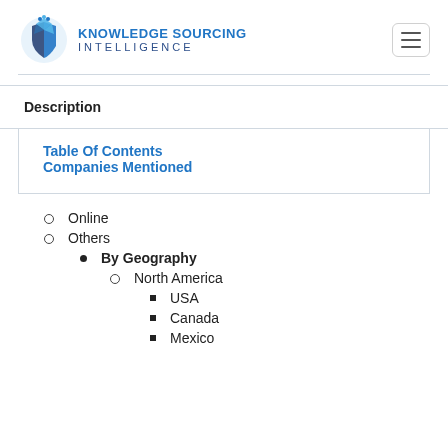[Figure (logo): Knowledge Sourcing Intelligence logo with blue crystal/gem icon and company name in blue text]
Description
Table Of Contents
Companies Mentioned
Online
Others
By Geography
North America
USA
Canada
Mexico